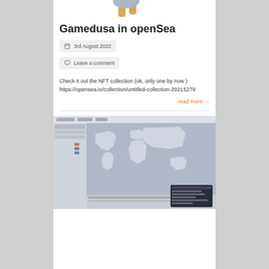[Figure (illustration): Partial view of a cartoon character illustration at the top of the blog post]
Gamedusa in openSea
3rd August 2022
Leave a comment
Check it out the NFT collection (ok, only one by now )
https://opensea.io/collection/untitled-collection-29215279
read more →
[Figure (screenshot): Screenshot of a world map application or GIS software showing a global map interface]